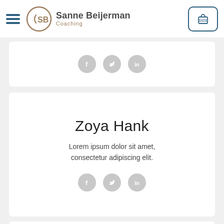Sanne Beijerman Coaching
[Figure (illustration): Social media icons row: Facebook, Twitter, LinkedIn — grey circles]
Zoya Hank
Lorem ipsum dolor sit amet, consectetur adipiscing elit.
[Figure (illustration): Social media icons row: Facebook, Twitter, LinkedIn — grey circles]